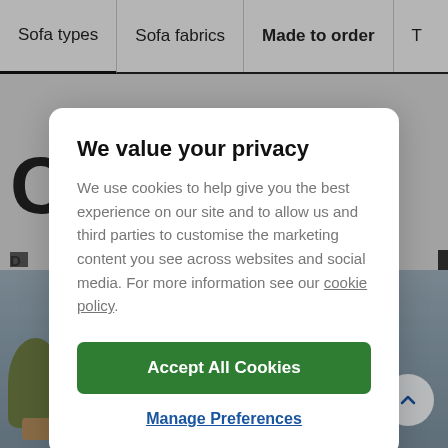Sofa types | Sofa fabrics | Made to order | T
[Figure (screenshot): Background of a retail website showing sofa product page with orange sofa image, partially obscured by a cookie consent modal overlay]
We value your privacy
We use cookies to help give you the best experience on our site and to allow us and third parties to customise the marketing content you see across websites and social media. For more information see our cookie policy.
Accept All Cookies
Manage Preferences